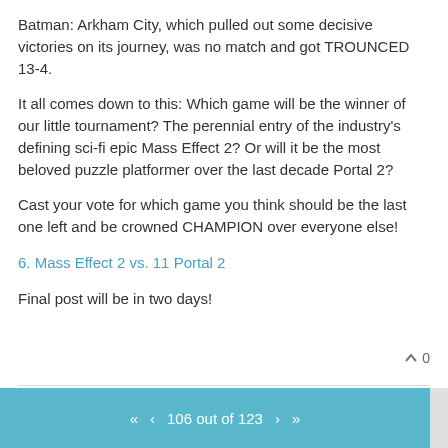Batman: Arkham City, which pulled out some decisive victories on its journey, was no match and got TROUNCED 13-4.
It all comes down to this: Which game will be the winner of our little tournament? The perennial entry of the industry's defining sci-fi epic Mass Effect 2? Or will it be the most beloved puzzle platformer over the last decade Portal 2?
Cast your vote for which game you think should be the last one left and be crowned CHAMPION over everyone else!
6. Mass Effect 2 vs. 11 Portal 2
Final post will be in two days!
106 out of 123